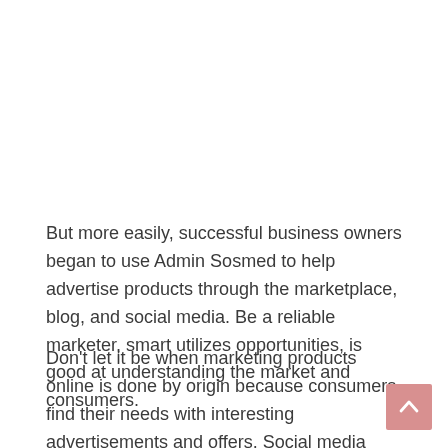But more easily, successful business owners began to use Admin Sosmed to help advertise products through the marketplace, blog, and social media. Be a reliable marketer, smart utilizes opportunities, is good at understanding the market and consumers.
Don't let it be when marketing products online is done by origin because consumers find their needs with interesting advertisements and offers. Social media users see the best and clear pictures and offer.